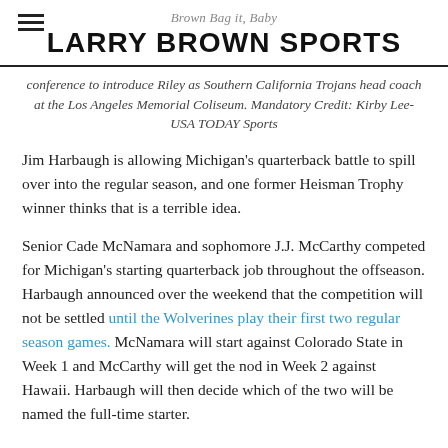Brown Bag it, Baby
LARRY BROWN SPORTS
conference to introduce Riley as Southern California Trojans head coach at the Los Angeles Memorial Coliseum. Mandatory Credit: Kirby Lee-USA TODAY Sports
Jim Harbaugh is allowing Michigan's quarterback battle to spill over into the regular season, and one former Heisman Trophy winner thinks that is a terrible idea.
Senior Cade McNamara and sophomore J.J. McCarthy competed for Michigan's starting quarterback job throughout the offseason. Harbaugh announced over the weekend that the competition will not be settled until the Wolverines play their first two regular season games. McNamara will start against Colorado State in Week 1 and McCarthy will get the nod in Week 2 against Hawaii. Harbaugh will then decide which of the two will be named the full-time starter.